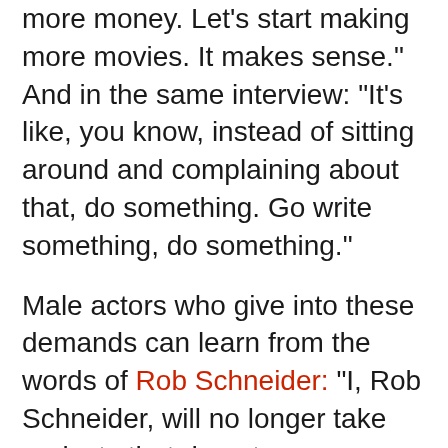more money. Let's start making more movies. It makes sense." And in the same interview: "It's like, you know, instead of sitting around and complaining about that, do something. Go write something, do something."
Male actors who give into these demands can learn from the words of Rob Schneider: "I, Rob Schneider, will no longer take projects that do not pay women equally. Even if that means lowering the woman's salary substantially." Underlined because a lot of people took his comment out of context.
Even outside of Hollywood, too many men allow radical feminist shaming